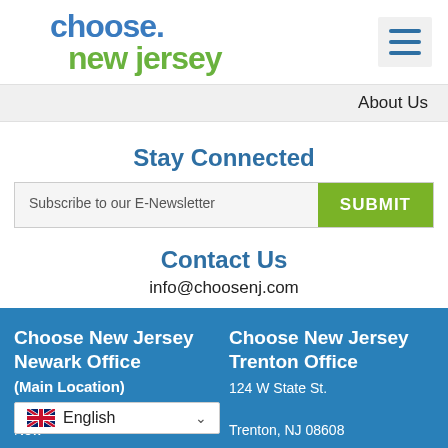[Figure (logo): Choose New Jersey logo with 'choose' in blue and 'new jersey' in green, plus hamburger menu icon]
About Us
Stay Connected
Subscribe to our E-Newsletter  SUBMIT
Contact Us
info@choosenj.com
Choose New Jersey Newark Office (Main Location)
Choose New Jersey Trenton Office
124 W State St.
Trenton, NJ 08608
Phone: (609) 297-2200
[Figure (screenshot): English language selector with UK flag]